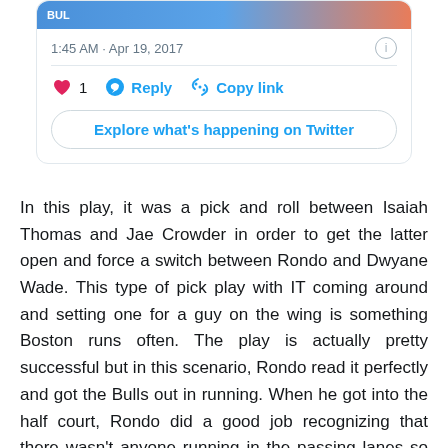[Figure (screenshot): Twitter tweet card showing timestamp 1:45 AM · Apr 19, 2017 with like (1), Reply, Copy link actions and Explore what's happening on Twitter button]
In this play, it was a pick and roll between Isaiah Thomas and Jae Crowder in order to get the latter open and force a switch between Rondo and Dwyane Wade. This type of pick play with IT coming around and setting one for a guy on the wing is something Boston runs often. The play is actually pretty successful but in this scenario, Rondo read it perfectly and got the Bulls out in running. When he got into the half court, Rondo did a good job recognizing that there wasn't anyone running in the passing lanes so he